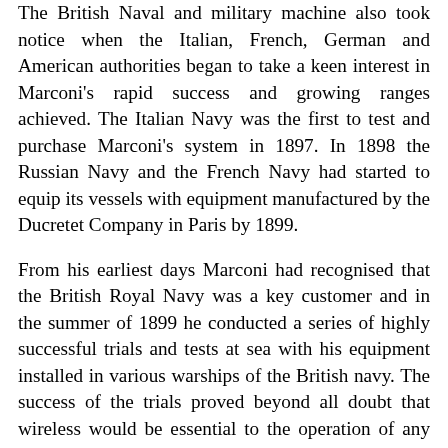The British Naval and military machine also took notice when the Italian, French, German and American authorities began to take a keen interest in Marconi's rapid success and growing ranges achieved. The Italian Navy was the first to test and purchase Marconi's system in 1897. In 1898 the Russian Navy and the French Navy had started to equip its vessels with equipment manufactured by the Ducretet Company in Paris by 1899.
From his earliest days Marconi had recognised that the British Royal Navy was a key customer and in the summer of 1899 he conducted a series of highly successful trials and tests at sea with his equipment installed in various warships of the British navy. The success of the trials proved beyond all doubt that wireless would be essential to the operation of any navy as the world entered the new century.
Once its strategic and tactical value had been recognised, wireless soon became part of the arms race. It also sharpened the growing imperial rivalry between Britain and Germany and, in the process